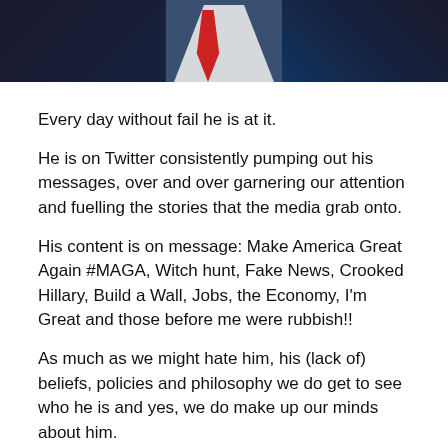[Figure (photo): Photo of a man in a dark suit with a red tie and white shirt, cropped at the top of the page.]
Every day without fail he is at it.
He is on Twitter consistently pumping out his messages, over and over garnering our attention and fuelling the stories that the media grab onto.
His content is on message: Make America Great Again #MAGA, Witch hunt, Fake News, Crooked Hillary, Build a Wall, Jobs, the Economy, I'm Great and those before me were rubbish!!
As much as we might hate him, his (lack of) beliefs, policies and philosophy we do get to see who he is and yes, we do make up our minds about him.
He keeps on trending that keeps on topping and...